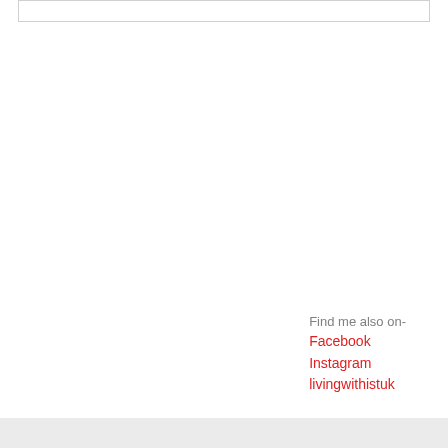Find me also on-
Facebook
Instagram
livingwithistuk